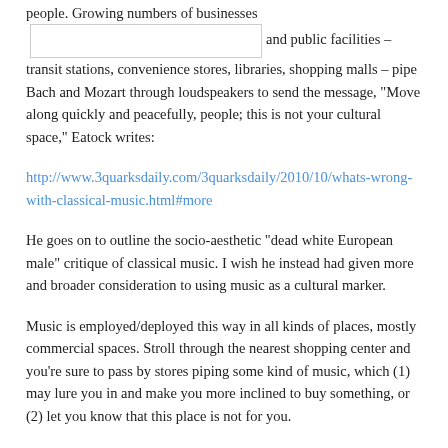people. Growing numbers of businesses [image] and public facilities – transit stations, convenience stores, libraries, shopping malls – pipe Bach and Mozart through loudspeakers to send the message, "Move along quickly and peacefully, people; this is not your cultural space," Eatock writes:
http://www.3quarksdaily.com/3quarksdaily/2010/10/whats-wrong-with-classical-music.html#more
He goes on to outline the socio-aesthetic "dead white European male" critique of classical music. I wish he instead had given more and broader consideration to using music as a cultural marker.
Music is employed/deployed this way in all kinds of places, mostly commercial spaces. Stroll through the nearest shopping center and you're sure to pass by stores piping some kind of music, which (1) may lure you in and make you more inclined to buy something, or (2) let you know that this place is not for you.
This practice doesn't just separate highbrows from lowbrows, but also lays down markers within popular culture. Piping bluegrass into a crowd of